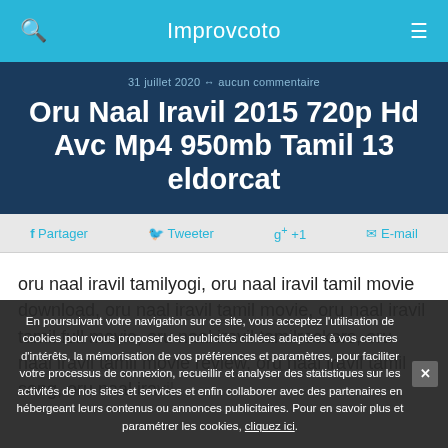Improvcoto
31 juillet 2020 → aucun commentaire
Oru Naal Iravil 2015 720p Hd Avc Mp4 950mb Tamil 13 eldorcat
f Partager   🐦 Tweeter   g+ +1   ✉ E-mail
oru naal iravil tamilyogi, oru naal iravil tamil movie download, oru naal iravil tamil movie, oru naal iravil tamil full movie, oru naal iravil tamilrockers, oru naal iravil tamil movie review, oru naal iravil tamil song, oru naal iravil
En poursuivant votre navigation sur ce site, vous acceptez l'utilisation de cookies pour vous proposer des publicités ciblées adaptées à vos centres d'intérêts, la mémorisation de vos préférences et paramètres, pour faciliter votre processus de connexion, recueillir et analyser des statistiques sur les activités de nos sites et services et enfin collaborer avec des partenaires en hébergeant leurs contenus ou annonces publicitaires. Pour en savoir plus et paramétrer les cookies, cliquez ici.